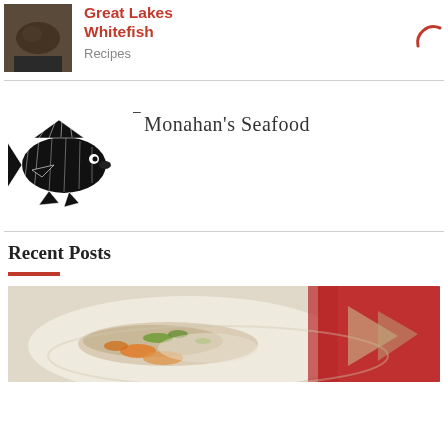[Figure (photo): Thumbnail photo of fried fish on a dark plate]
Great Lakes Whitefish
Recipes
[Figure (logo): Black and white woodcut illustration of a flat fish (flounder/halibut) facing right]
Monahan's Seafood
Recent Posts
[Figure (photo): Photo of a seafood dish with fish and vegetables on a white plate with red background]